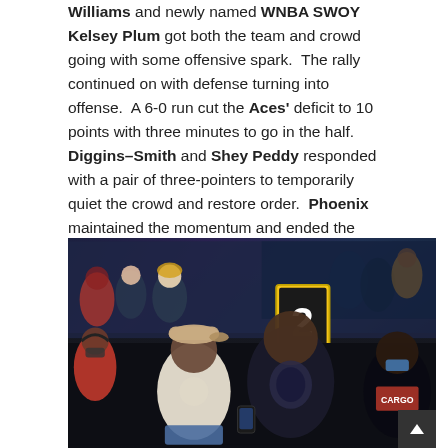Williams and newly named WNBA SWOY Kelsey Plum got both the team and crowd going with some offensive spark. The rally continued on with defense turning into offense. A 6-0 run cut the Aces' deficit to 10 points with three minutes to go in the half. Diggins–Smith and Shey Peddy responded with a pair of three-pointers to temporarily quiet the crowd and restore order. Phoenix maintained the momentum and ended the second quarter ahead 68-52.
[Figure (photo): Photo of several people sitting courtside at a WNBA game. The central figures are large men in casual clothing — one wearing a beige cap and white t-shirt, another in a dark graphic tee. A sign with the number '2' is visible in the background. The crowd and arena are visible behind them. A scroll-up button is visible in the bottom right corner.]